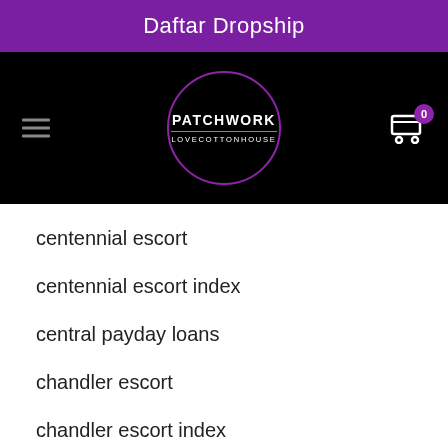Daftar Dropship
[Figure (logo): Patchwork Love Cotton House circular logo with purple border on black navigation bar, with hamburger menu icon on left and shopping cart with badge '0' on right]
centennial escort
centennial escort index
central payday loans
chandler escort
chandler escort index
Chappy dating app
chappy giris
Chappy visitors